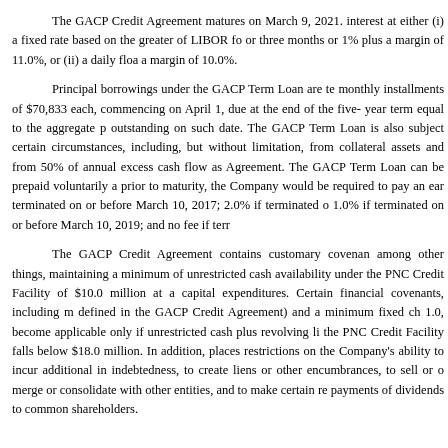The GACP Credit Agreement matures on March 9, 2021. interest at either (i) a fixed rate based on the greater of LIBOR fo or three months or 1% plus a margin of 11.0%, or (ii) a daily floa a margin of 10.0%.
Principal borrowings under the GACP Term Loan are te monthly installments of $70,833 each, commencing on April 1, due at the end of the five-year term equal to the aggregate p outstanding on such date. The GACP Term Loan is also subject certain circumstances, including, but without limitation, from collateral assets and from 50% of annual excess cash flow as Agreement. The GACP Term Loan can be prepaid voluntarily a prior to maturity, the Company would be required to pay an ear terminated on or before March 10, 2017; 2.0% if terminated o 1.0% if terminated on or before March 10, 2019; and no fee if terr
The GACP Credit Agreement contains customary covenan among other things, maintaining a minimum of unrestricted cash availability under the PNC Credit Facility of $10.0 million at a capital expenditures. Certain financial covenants, including m defined in the GACP Credit Agreement) and a minimum fixed ch 1.0, become applicable only if unrestricted cash plus revolving li the PNC Credit Facility falls below $18.0 million. In addition, places restrictions on the Company's ability to incur additional in indebtedness, to create liens or other encumbrances, to sell or o merge or consolidate with other entities, and to make certain re payments of dividends to common shareholders.